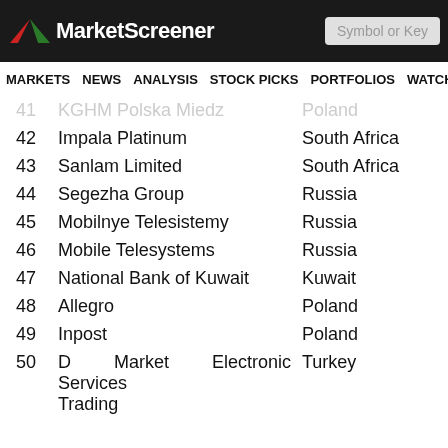MarketScreener
MARKETS NEWS ANALYSIS STOCK PICKS PORTFOLIOS WATCHLI
41  KGHM Polska Miedz  Poland
42  Impala Platinum  South Africa
43  Sanlam Limited  South Africa
44  Segezha Group  Russia
45  Mobilnye Telesistemy  Russia
46  Mobile Telesystems  Russia
47  National Bank of Kuwait  Kuwait
48  Allegro  Poland
49  Inpost  Poland
50  D Market Electronic Services Trading  Turkey